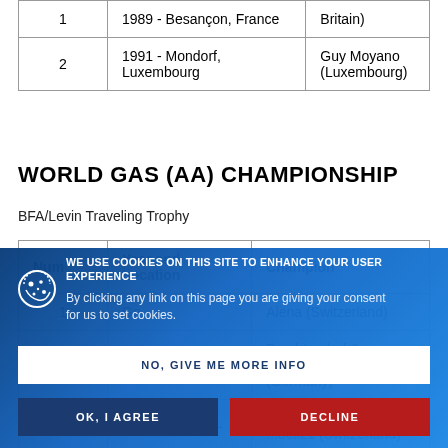| Num | Year and Location | Champion |
| --- | --- | --- |
| 1 | 1989 - Besançon, France | (Great Britain) |
| 2 | 1991 - Mondorf, Luxembourg | Guy Moyano (Luxembourg) |
WORLD GAS (AA) CHAMPIONSHIP
BFA/Levin Traveling Trophy
| Num | Year and Location | Champion |
| --- | --- | --- |
| 1 | Ge... | Alena (Switzerland) |
| 2 | 1980 - Brussels (?) | Brachtendorf & Karnstadt (Germany) |
| 3 | ... | ...eterka & Jean-Paul ...oeltz1 (Switzerland) |
[Figure (other): Cookie consent overlay banner with blue gradient background. Title: 'WE USE COOKIES ON THIS SITE TO ENHANCE YOUR USER EXPERIENCE'. Body text: 'By clicking any link on this page you are giving your consent for us to set cookies.' Buttons: 'NO, GIVE ME MORE INFO' (white), 'OK, I AGREE' (dark blue), 'DECLINE' (red).]